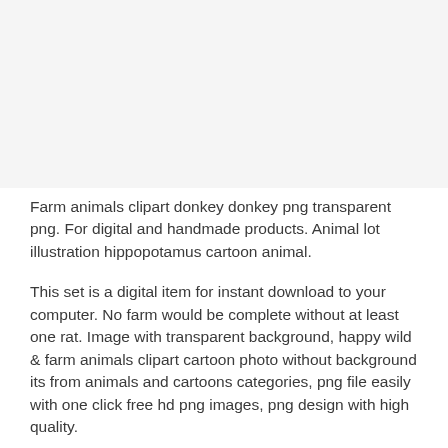[Figure (illustration): Farm animal clipart illustration — white/blank area at top of page]
Farm animals clipart donkey donkey png transparent png. For digital and handmade products. Animal lot illustration hippopotamus cartoon animal.
This set is a digital item for instant download to your computer. No farm would be complete without at least one rat. Image with transparent background, happy wild & farm animals clipart cartoon photo without background its from animals and cartoons categories, png file easily with one click free hd png images, png design with high quality.